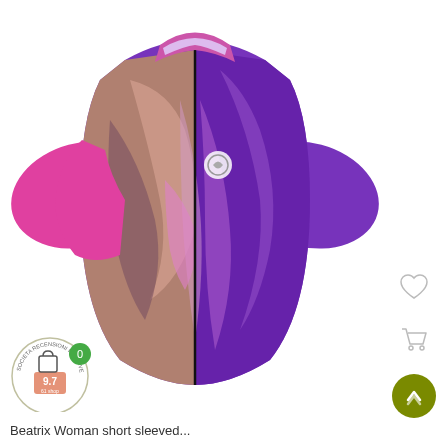[Figure (photo): Women's cycling jersey (Beatrix Woman short sleeved) with abstract swirling design in purple, pink, and beige/grey tones. Short sleeves with pink and white stripe cuffs. Full zip front. Small brand logo on chest.]
[Figure (other): Round badge/seal in bottom left corner with text 'SOCIETA RECENSIONI POSITIVE' and a rating of 9.7 with '61 shop' text. Has a green circle with '0' and shopping bag icon.]
Beatrix Woman short sleeved...